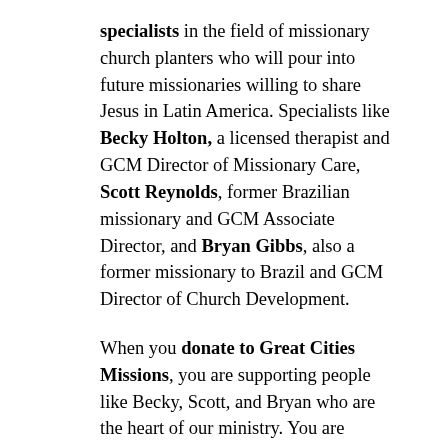specialists in the field of missionary church planters who will pour into future missionaries willing to share Jesus in Latin America. Specialists like Becky Holton, a licensed therapist and GCM Director of Missionary Care, Scott Reynolds, former Brazilian missionary and GCM Associate Director, and Bryan Gibbs, also a former missionary to Brazil and GCM Director of Church Development.
When you donate to Great Cities Missions, you are supporting people like Becky, Scott, and Bryan who are the heart of our ministry. You are supporting new church planting teams like the Boa Vista Team. And you are supporting future missionaries like Joao. Check back often for updates about this team's